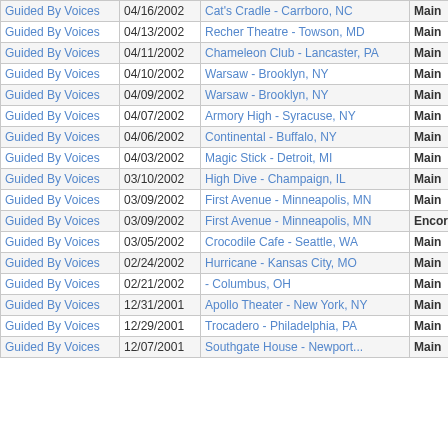| Artist | Date | Venue | Set |  |  |
| --- | --- | --- | --- | --- | --- |
| Guided By Voices | 04/16/2002 | Cat's Cradle - Carrboro, NC | Main |  |  |
| Guided By Voices | 04/13/2002 | Recher Theatre - Towson, MD | Main |  |  |
| Guided By Voices | 04/11/2002 | Chameleon Club - Lancaster, PA | Main |  |  |
| Guided By Voices | 04/10/2002 | Warsaw - Brooklyn, NY | Main |  |  |
| Guided By Voices | 04/09/2002 | Warsaw - Brooklyn, NY | Main |  |  |
| Guided By Voices | 04/07/2002 | Armory High - Syracuse, NY | Main |  |  |
| Guided By Voices | 04/06/2002 | Continental - Buffalo, NY | Main |  |  |
| Guided By Voices | 04/03/2002 | Magic Stick - Detroit, MI | Main |  |  |
| Guided By Voices | 03/10/2002 | High Dive - Champaign, IL | Main |  |  |
| Guided By Voices | 03/09/2002 | First Avenue - Minneapolis, MN | Main |  |  |
| Guided By Voices | 03/09/2002 | First Avenue - Minneapolis, MN | Encore 2 |  |  |
| Guided By Voices | 03/05/2002 | Crocodile Cafe - Seattle, WA | Main |  |  |
| Guided By Voices | 02/24/2002 | Hurricane - Kansas City, MO | Main |  |  |
| Guided By Voices | 02/21/2002 | - Columbus, OH | Main |  |  |
| Guided By Voices | 12/31/2001 | Apollo Theater - New York, NY | Main |  |  |
| Guided By Voices | 12/29/2001 | Trocadero - Philadelphia, PA | Main |  |  |
| Guided By Voices | 12/07/2001 | Southgate House - Newport... | Main |  |  |